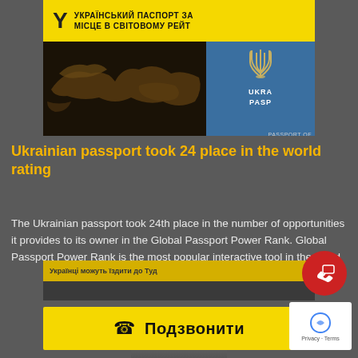[Figure (screenshot): Screenshot of a Ukrainian news article. Top portion shows an image with yellow header bar containing Ukrainian text 'УКРАЇНСЬКИЙ ПАСПОРТ ЗА МІСЦЕ В СВІТОВОМУ РЕЙТ' and a photo combining a world map and a Ukrainian passport (blue cover with trident emblem). Below is an article title in yellow text and body text in white. Bottom shows a yellow call button with Cyrillic text 'Подзвонити', a red chat/call floating button, and a reCAPTCHA badge.]
Ukrainian passport took 24 place in the world rating
The Ukrainian passport took 24th place in the number of opportunities it provides to its owner in the Global Passport Power Rank. Global Passport Power Rank is the most popular interactive tool in the world